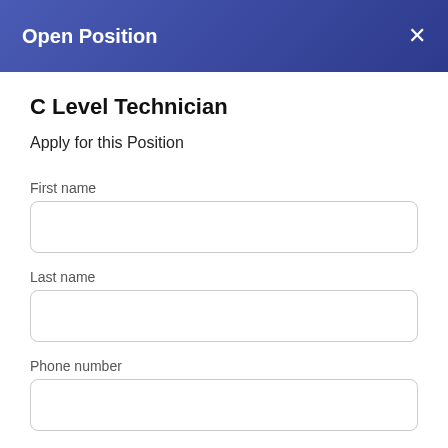Open Position
C Level Technician
Apply for this Position
First name
Last name
Phone number